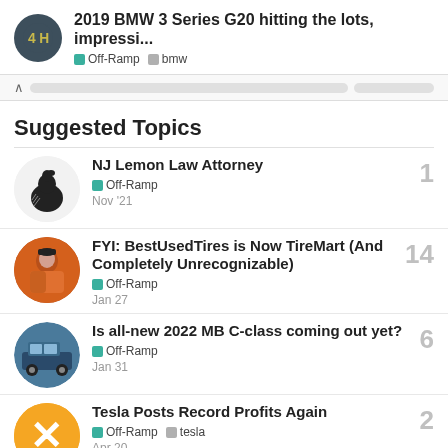2019 BMW 3 Series G20 hitting the lots, impressi... | Off-Ramp | bmw
Suggested Topics
NJ Lemon Law Attorney | Off-Ramp | 1 | Nov '21
FYI: BestUsedTires is Now TireMart (And Completely Unrecognizable) | Off-Ramp | 14 | Jan 27
Is all-new 2022 MB C-class coming out yet? | Off-Ramp | 6 | Jan 31
Tesla Posts Record Profits Again | Off-Ramp | tesla | 2 | Apr 20